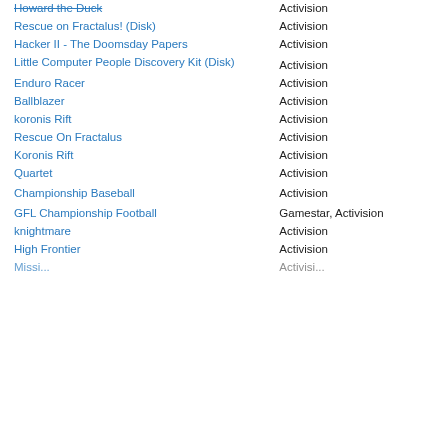| Title | Publisher |
| --- | --- |
| Howard the Duck | Activision |
| Rescue on Fractalus! (Disk) | Activision |
| Hacker II - The Doomsday Papers | Activision |
| Little Computer People Discovery Kit (Disk) | Activision |
| Enduro Racer | Activision |
| Ballblazer | Activision |
| koronis Rift | Activision |
| Rescue On Fractalus | Activision |
| Koronis Rift | Activision |
| Quartet | Activision |
| Championship Baseball | Activision |
| GFL Championship Football | Gamestar, Activision |
| knightmare | Activision |
| High Frontier | Activision |
| Mission... | Activision |